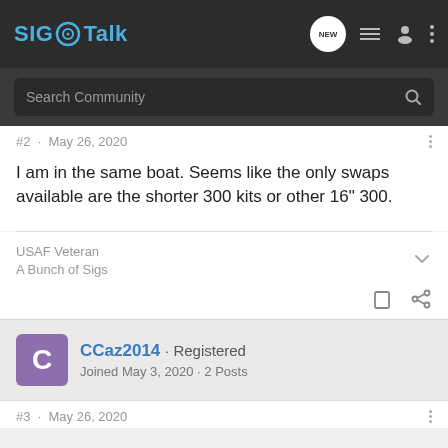SIG Talk
#2 · May 26, 2020
I am in the same boat. Seems like the only swaps available are the shorter 300 kits or other 16" 300.
USAF Veteran
A Bunch of Sigs
CCaz2014 · Registered
Joined May 3, 2020 · 2 Posts
#3 · May 26, 2020